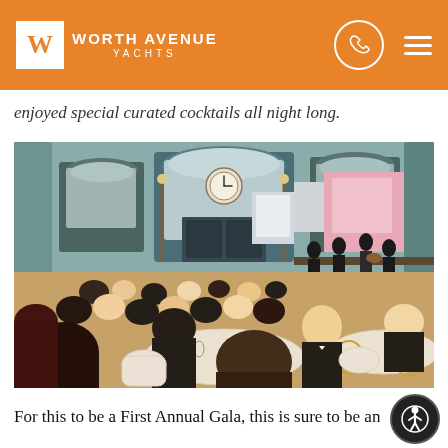Worth Avenue Yachts
enjoyed special curated cocktails all night long.
[Figure (photo): Indoor gala event at a grand hall with arched windows, a clock above ornate doors, guests seated at round tables in formal attire, and a live band performing on stage to the right with pink backdrop lighting.]
For this to be a First Annual Gala, this is sure to be an